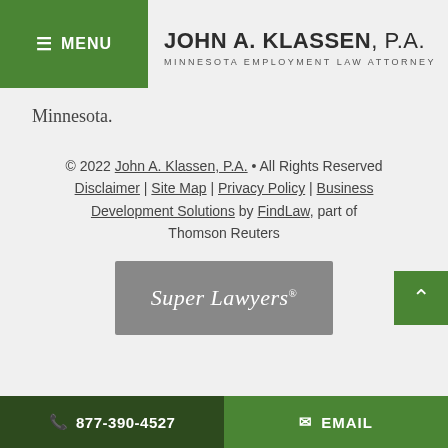MENU | JOHN A. KLASSEN, P.A. MINNESOTA EMPLOYMENT LAW ATTORNEY
Minnesota.
© 2022 John A. Klassen, P.A. • All Rights Reserved Disclaimer | Site Map | Privacy Policy | Business Development Solutions by FindLaw, part of Thomson Reuters
[Figure (logo): Super Lawyers badge - gray rectangle with white italic text reading 'Super Lawyers']
877-390-4527  EMAIL